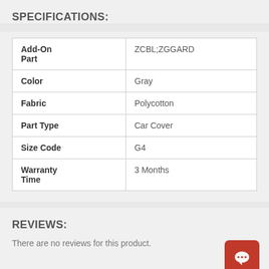SPECIFICATIONS:
|  |  |
| --- | --- |
| Add-On Part | ZCBL;ZGGARD |
| Color | Gray |
| Fabric | Polycotton |
| Part Type | Car Cover |
| Size Code | G4 |
| Warranty Time | 3 Months |
REVIEWS:
There are no reviews for this product.